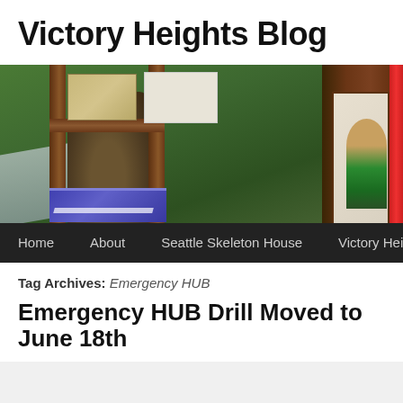Victory Heights Blog
[Figure (photo): Outdoor photo of a wooden bulletin board structure with a large tree behind it, papers/notices posted, a purple sign visible at the bottom, and a child in a green shirt visible on the right side. Navigation bar overlays the bottom of the image.]
Home  About  Seattle Skeleton House  Victory Heights Emerge…
Tag Archives: Emergency HUB
Emergency HUB Drill Moved to June 18th